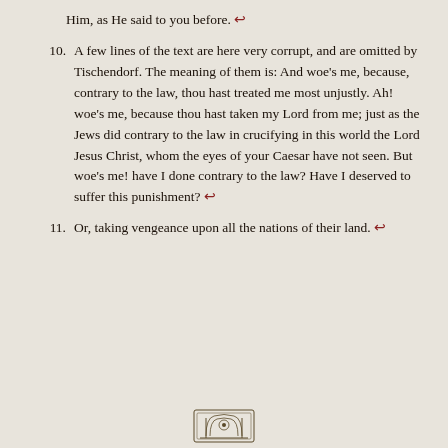Him, as He said to you before. ↩
10. A few lines of the text are here very corrupt, and are omitted by Tischendorf. The meaning of them is: And woe's me, because, contrary to the law, thou hast treated me most unjustly. Ah! woe's me, because thou hast taken my Lord from me; just as the Jews did contrary to the law in crucifying in this world the Lord Jesus Christ, whom the eyes of your Caesar have not seen. But woe's me! have I done contrary to the law? Have I deserved to suffer this punishment? ↩
11. Or, taking vengeance upon all the nations of their land. ↩
[Figure (illustration): Small ornamental engraving/vignette at bottom center of page]